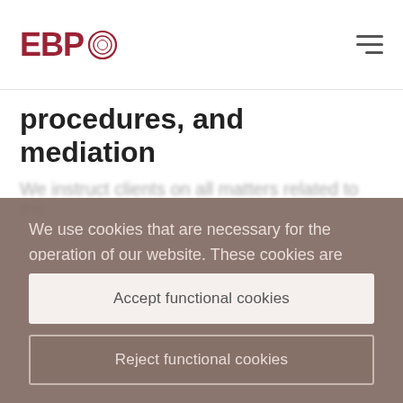[Figure (logo): EBP logo with circular graphic element in dark red]
procedures, and mediation
We use cookies that are necessary for the operation of our website. These cookies are enabled at all times. Additional functional cookies enable media playback and allow us to understand how our site visitors are using the content on our website via analytic tools. This enables us to
Accept functional cookies
Reject functional cookies